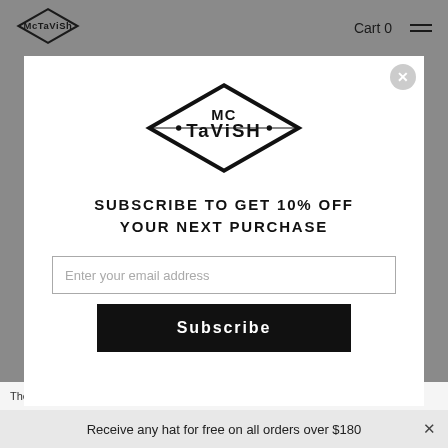McTavish  Cart 0
[Figure (logo): McTavish diamond logo in modal popup]
SUBSCRIBE TO GET 10% OFF YOUR NEXT PURCHASE
Enter your email address
Subscribe
The Tail: between your feet there is a distinct engine zone built w...
Receive any hat for free on all orders over $180